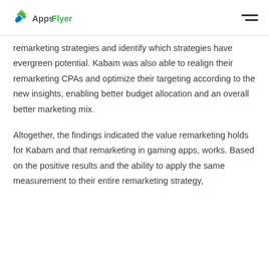AppsFlyer
remarketing strategies and identify which strategies have evergreen potential. Kabam was also able to realign their remarketing CPAs and optimize their targeting according to the new insights, enabling better budget allocation and an overall better marketing mix.
Altogether, the findings indicated the value remarketing holds for Kabam and that remarketing in gaming apps, works. Based on the positive results and the ability to apply the same measurement to their entire remarketing strategy,